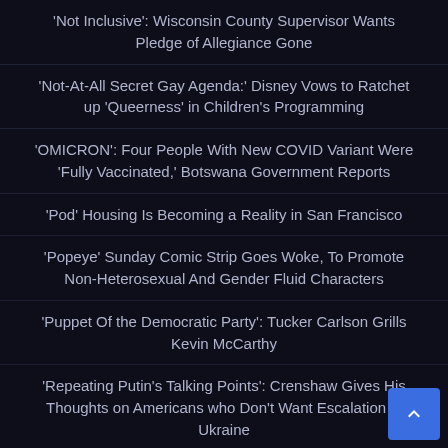'Not Inclusive': Wisconsin County Supervisor Wants Pledge of Allegiance Gone
'Not-At-All Secret Gay Agenda:' Disney Vows to Ratchet up 'Queerness' in Children's Programming
'OMICRON': Four People With New COVID Variant Were 'Fully Vaccinated,' Botswana Government Reports
'Pod' Housing Is Becoming a Reality in San Francisco
'Popeye' Sunday Comic Strip Goes Woke, To Promote Non-Heterosexual And Gender Fluid Characters
'Puppet Of the Democratic Party': Tucker Carlson Grills Kevin McCarthy
'Repeating Putin's Talking Points': Crenshaw Gives His Thoughts on Americans who Don't Want Escalation in Ukraine
'Ruth Sent Us': Far-Left Group Calls for Protests Outside Conservative Supreme Court Justices' Homes
'Scam the Political Process': Takes On The CPS Child Trafficking...